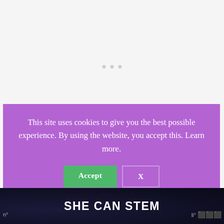[Figure (screenshot): Cookie consent popup overlay on a webpage. Purple background box with white text reading 'This site uses cookies to give you the best possible experience. By using the website, you accept this. Learn more.' with a green 'Accept' button and an outlined 'X' button below.]
bought. Unfortunately she did not.
Hanna explained to me that if she found her
SHE CAN STEM